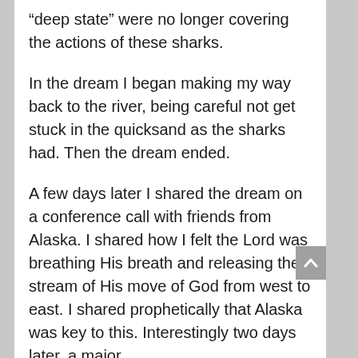“deep state” were no longer covering the actions of these sharks.
In the dream I began making my way back to the river, being careful not get stuck in the quicksand as the sharks had. Then the dream ended.
A few days later I shared the dream on a conference call with friends from Alaska. I shared how I felt the Lord was breathing His breath and releasing the stream of His move of God from west to east. I shared prophetically that Alaska was key to this. Interestingly two days later, a major